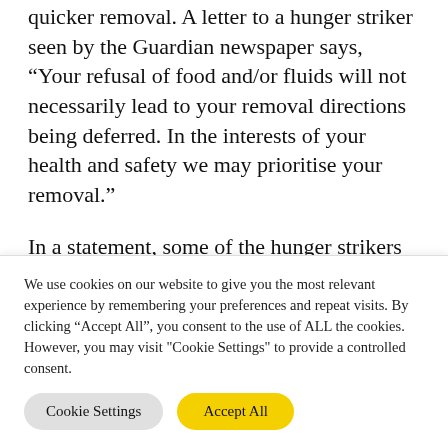quicker removal. A letter to a hunger striker seen by the Guardian newspaper says, “Your refusal of food and/or fluids will not necessarily lead to your removal directions being deferred. In the interests of your health and safety we may prioritise your removal.”
In a statement, some of the hunger strikers said they had been detained in Libya but had not expected the same treatment in Britain. “I just want to be safe and free. I’m not a
We use cookies on our website to give you the most relevant experience by remembering your preferences and repeat visits. By clicking “Accept All”, you consent to the use of ALL the cookies. However, you may visit "Cookie Settings" to provide a controlled consent.